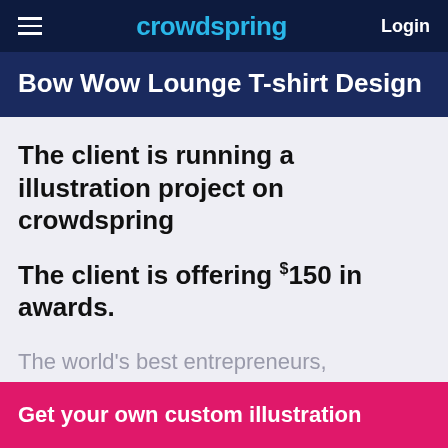crowdspring | Login
Bow Wow Lounge T-shirt Design
The client is running a illustration project on crowdspring
The client is offering $150 in awards.
The world's best entrepreneurs, businesses, agencies, and nonprofits trust crowdspring for custom illustration needs.
Get your own custom illustration